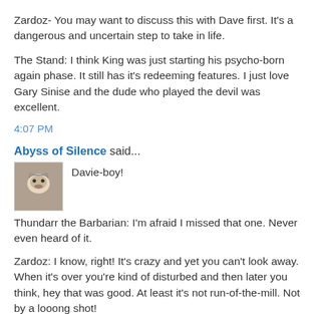Zardoz- You may want to discuss this with Dave first. It's a dangerous and uncertain step to take in life.
The Stand: I think King was just starting his psycho-born again phase. It still has it's redeeming features. I just love Gary Sinise and the dude who played the devil was excellent.
4:07 PM
Abyss of Silence said...
Davie-boy!
Thundarr the Barbarian: I'm afraid I missed that one. Never even heard of it.
Zardoz: I know, right! It's crazy and yet you can't look away. When it's over you're kind of disturbed and then later you think, hey that was good. At least it's not run-of-the-mill. Not by a looong shot!
Armageddon & Ind. Day: Hey, I'm being honest here!